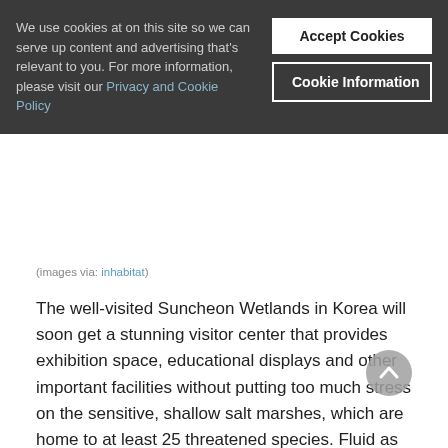We use cookies at on this site so we can serve up content and advertising that's relevant to you. For more information, please visit our Privacy and Cookie Policy
Accept Cookies
Cookie Information
(images via: inhabitat)
The well-visited Suncheon Wetlands in Korea will soon get a stunning visitor center that provides exhibition space, educational displays and other important facilities without putting too much stress on the sensitive, shallow salt marshes, which are home to at least 25 threatened species. Fluid as the water that surrounds them, the buildings that